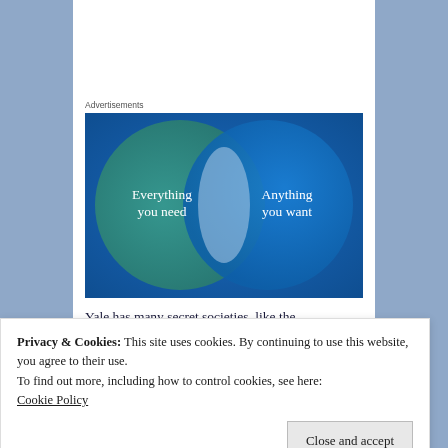Advertisements
[Figure (infographic): Venn diagram advertisement with two overlapping circles on a blue/teal background. Left circle (teal/green) reads 'Everything you need', right circle (blue) reads 'Anything you want'. The overlap area is a lighter blue-white.]
Yale has many secret societies, like the
Privacy & Cookies: This site uses cookies. By continuing to use this website, you agree to their use.
To find out more, including how to control cookies, see here:
Cookie Policy
Close and accept